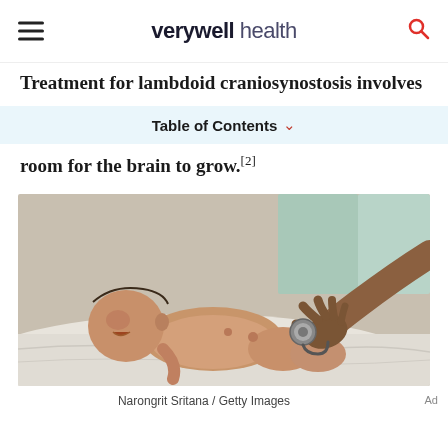verywell health
Treatment for lambdoid craniosynostosis involves
Table of Contents
room for the brain to grow.[2]
[Figure (photo): A newborn baby lying on a white surface being examined with a stethoscope by a doctor's hand. The baby's mouth is open. Medical examination scene.]
Narongrit Sritana / Getty Images